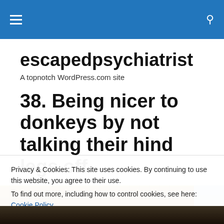escapedpsychiatrist — navigation bar with menu and search icons
escapedpsychiatrist
A topnotch WordPress.com site
38. Being nicer to donkeys by not talking their hind legs off.
[Figure (photo): Partial view of a restaurant or café interior with hanging lights and warm amber tones, partially obscured by cookie consent banner]
Privacy & Cookies: This site uses cookies. By continuing to use this website, you agree to their use.
To find out more, including how to control cookies, see here: Cookie Policy
Close and accept